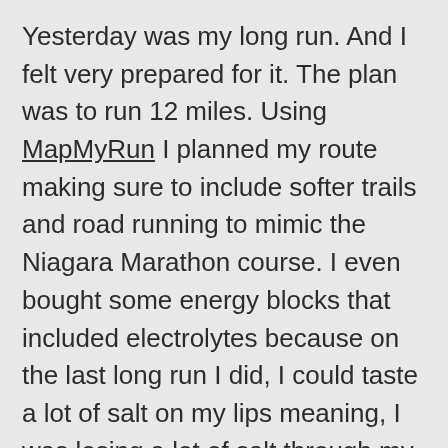Yesterday was my long run. And I felt very prepared for it. The plan was to run 12 miles. Using MapMyRun I planned my route making sure to include softer trails and road running to mimic the Niagara Marathon course. I even bought some energy blocks that included electrolytes because on the last long run I did, I could taste a lot of salt on my lips meaning, I was losing a lot of salt through my sweat. On top of that, I brought with me some Fruit to go snacks to keep my energy levels up (tip: open the fruit to go packages and put them in a zip-loc baggie or something. You know